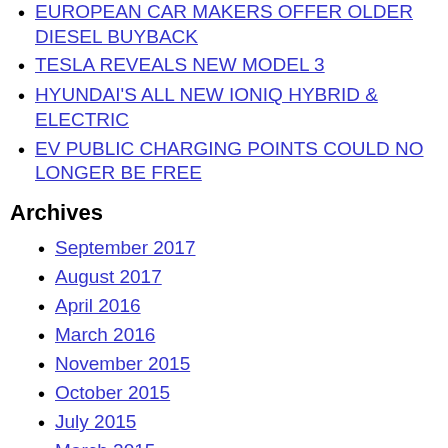EUROPEAN CAR MAKERS OFFER OLDER DIESEL BUYBACK
TESLA REVEALS NEW MODEL 3
HYUNDAI'S ALL NEW IONIQ HYBRID & ELECTRIC
EV PUBLIC CHARGING POINTS COULD NO LONGER BE FREE
Archives
September 2017
August 2017
April 2016
March 2016
November 2015
October 2015
July 2015
March 2015
January 2015
November 2014
October 2014
September 2014
August 2014
July 2014
June 2014
May 2014